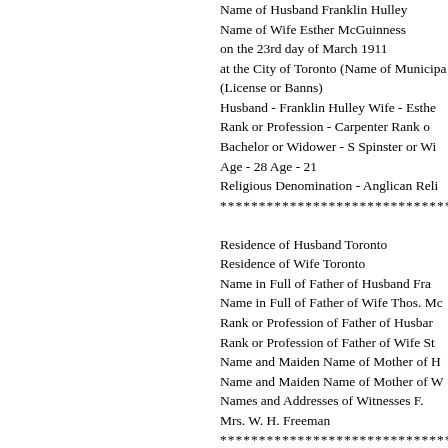Name of Husband Franklin Hulley
Name of Wife Esther McGuinness
on the 23rd day of March 1911
at the City of Toronto (Name of Municipality
(License or Banns)
Husband - Franklin Hulley Wife - Esther
Rank or Profession - Carpenter Rank or
Bachelor or Widower - S Spinster or Wi
Age - 28 Age - 21
Religious Denomination - Anglican Reli
******************************************
Residence of Husband Toronto
Residence of Wife Toronto
Name in Full of Father of Husband Fra
Name in Full of Father of Wife Thos. Mc
Rank or Profession of Father of Husban
Rank or Profession of Father of Wife St
Name and Maiden Name of Mother of H
Name and Maiden Name of Mother of W
Names and Addresses of Witnesses F.
Mrs. W. H. Freeman
*********************************************
SCHEDULE D
AFFIDAVIT
Required before License or Certificate i
Licenses by provision of
The Marriage Act (Chapter 162, R.S.O.

________________________________
I Franklin Hulley of the City of Toronto
Name of Applicant City, Town, Village or